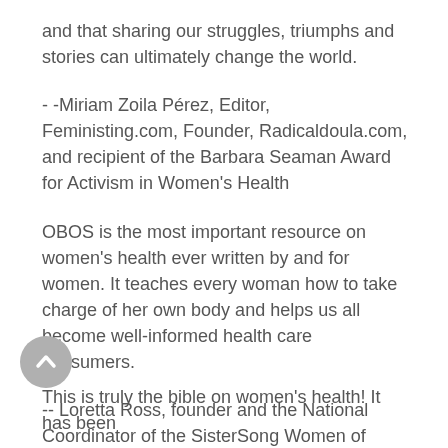and that sharing our struggles, triumphs and stories can ultimately change the world.
- -Miriam Zoila Pérez, Editor, Feministing.com, Founder, Radicaldoula.com, and recipient of the Barbara Seaman Award for Activism in Women's Health
OBOS is the most important resource on women's health ever written by and for women. It teaches every woman how to take charge of her own body and helps us all become well-informed health care consumers.
-- Loretta Ross, founder and the National Coordinator of the SisterSong Women of Color Reproductive Health Collective
This is truly the bible on women's health! It has been